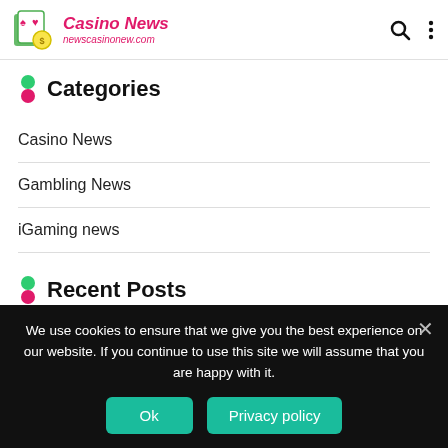Casino News — newscasinonew.com
Categories
Casino News
Gambling News
iGaming news
Recent Posts
We use cookies to ensure that we give you the best experience on our website. If you continue to use this site we will assume that you are happy with it.